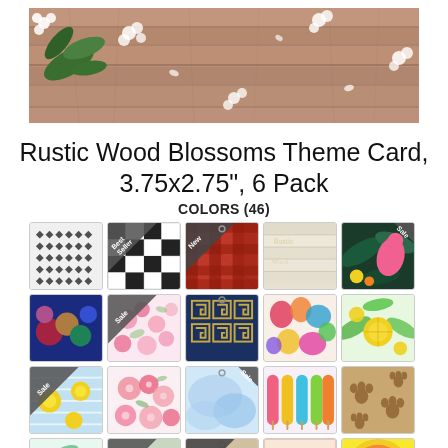[Figure (photo): Rustic wood plank background with white cherry blossoms and green leaves scattered across]
Rustic Wood Blossoms Theme Card, 3.75x2.75", 6 Pack
COLORS (46)
[Figure (infographic): Grid of 20 product color swatch thumbnails showing various designs including black/white chevron, buffalo plaid (Best Seller), red plaid (New), white wood, flamingo (Sale), floral colorful, pink floral (Sale), Greek key navy, colorful abstract, tropical citrus, yellow lemon (Sale), pink floral, blue watercolor (Sale), colorful stripes, paw prints brown, plus 5 more partially visible]